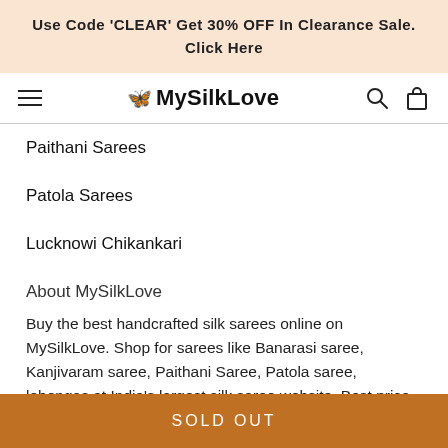Use Code 'CLEAR' Get 30% OFF In Clearance Sale. Click Here
[Figure (logo): MySilkLove logo with butterfly icon, hamburger menu, search and cart icons in navigation bar]
Paithani Sarees
Patola Sarees
Lucknowi Chikankari
About MySilkLove
Buy the best handcrafted silk sarees online on MySilkLove. Shop for sarees like Banarasi saree, Kanjivaram saree, Paithani Saree, Patola saree, lehengas at India's largest silk saree website. Best price guaranteed. Free Shipping on prepaid
SOLD OUT